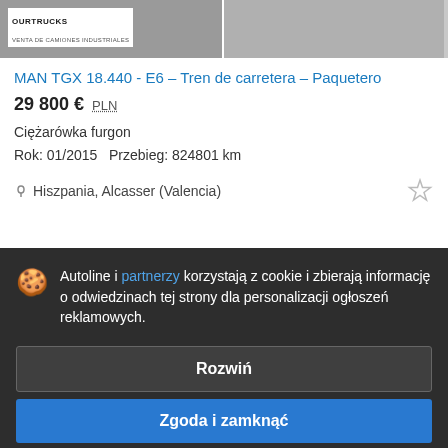[Figure (screenshot): Two vehicle thumbnail images side by side; left shows a truck with OURTRUCKS logo overlay, right shows another vehicle.]
MAN TGX 18.440 - E6 – Tren de carretera – Paquetero
29 800 €  PLN
Ciężarówka furgon
Rok: 01/2015  Przebieg: 824801 km
Hiszpania, Alcasser (Valencia)
Autoline i partnerzy korzystają z cookie i zbierają informację o odwiedzinach tej strony dla personalizacji ogłoszeń reklamowych.
Rozwiń
Zgoda i zamknąć